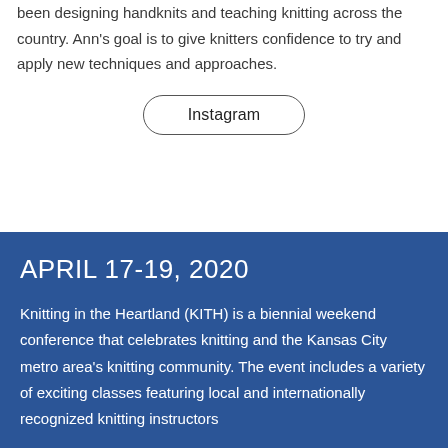been designing handknits and teaching knitting across the country.  Ann's goal is to give knitters confidence to try and apply new techniques and approaches.
Instagram
APRIL 17-19, 2020
Knitting in the Heartland (KITH) is a biennial weekend conference that celebrates knitting and the Kansas City metro area's knitting community.  The event includes a variety of exciting classes featuring local and internationally recognized knitting instructors